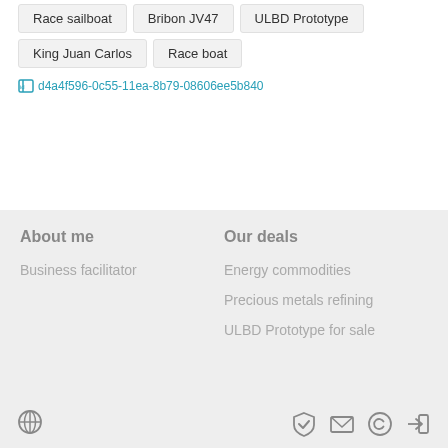Race sailboat
Bribon JV47
ULBD Prototype
King Juan Carlos
Race boat
id d4a4f596-0c55-11ea-8b79-08606ee5b840
About me
Our deals
Business facilitator
Energy commodities
Precious metals refining
ULBD Prototype for sale